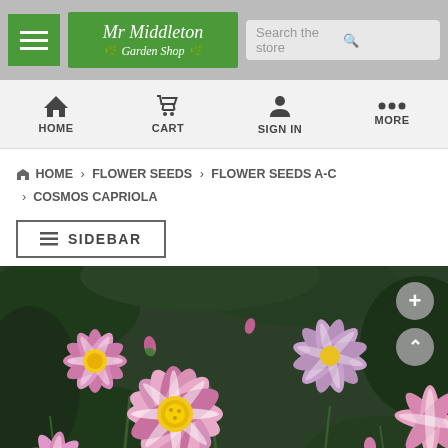Mr Middleton Garden Shop — Header with hamburger menu, logo, and search bar
HOME | CART | SIGN IN | MORE
HOME > FLOWER SEEDS > FLOWER SEEDS A-C > COSMOS CAPRIOLA
SIDEBAR
[Figure (photo): Close-up photograph of pink and white Cosmos Capriola flowers with yellow centres against a dark green background, with zoom controls (+) and (^) overlay buttons on the right side]